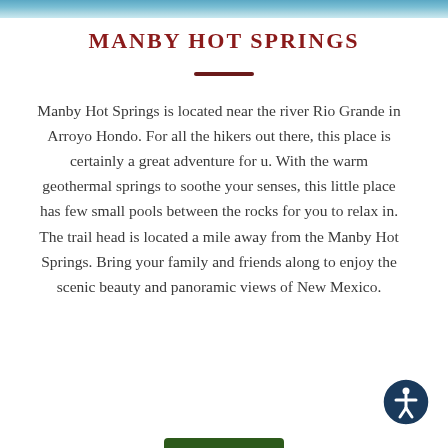[Figure (illustration): Blue water/sky texture banner at the top of the page]
MANBY HOT SPRINGS
Manby Hot Springs is located near the river Rio Grande in Arroyo Hondo. For all the hikers out there, this place is certainly a great adventure for u. With the warm geothermal springs to soothe your senses, this little place has few small pools between the rocks for you to relax in. The trail head is located a mile away from the Manby Hot Springs. Bring your family and friends along to enjoy the scenic beauty and panoramic views of New Mexico.